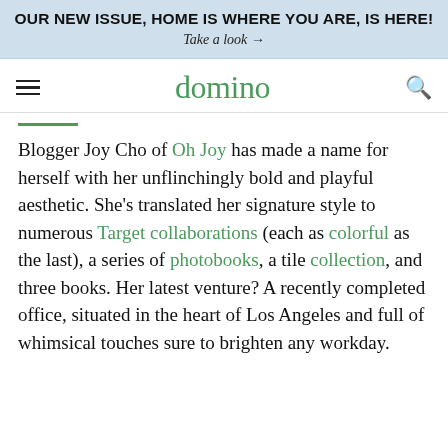OUR NEW ISSUE, HOME IS WHERE YOU ARE, IS HERE! Take a look →
domino
Blogger Joy Cho of Oh Joy has made a name for herself with her unflinchingly bold and playful aesthetic. She's translated her signature style to numerous Target collaborations (each as colorful as the last), a series of photobooks, a tile collection, and three books. Her latest venture? A recently completed office, situated in the heart of Los Angeles and full of whimsical touches sure to brighten any workday.